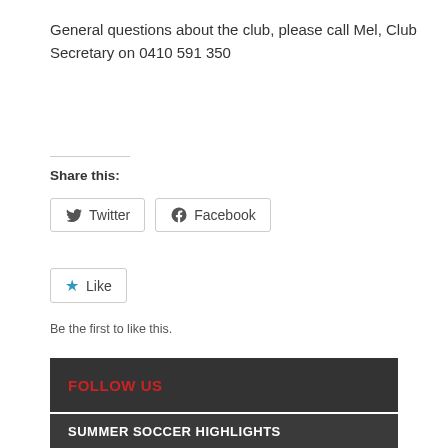General questions about the club, please call Mel, Club Secretary on 0410 591 350
Share this:
Twitter
Facebook
Like
Be the first to like this.
FOLLOW US
SUMMER SOCCER HIGHLIGHTS